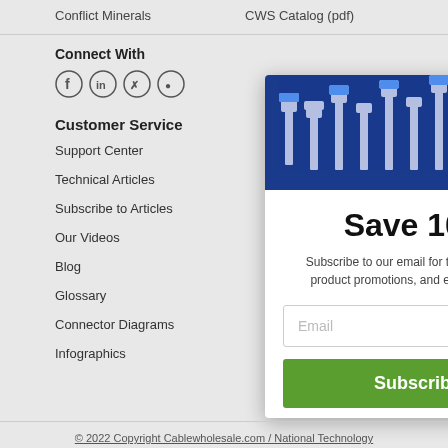Conflict Minerals    CWS Catalog (pdf)
Connect With
Customer Service
Support Center
Technical Articles
Subscribe to Articles
Our Videos
Blog
Glossary
Connector Diagrams
Infographics
[Figure (photo): Blue cable connectors illustration on dark blue background]
Save 10%
Subscribe to our email for the latest news, product promotions, and exclusive deals
Email
Subscribe
No, thanks
© 2022 Copyright Cablewholesale.com / National Technology